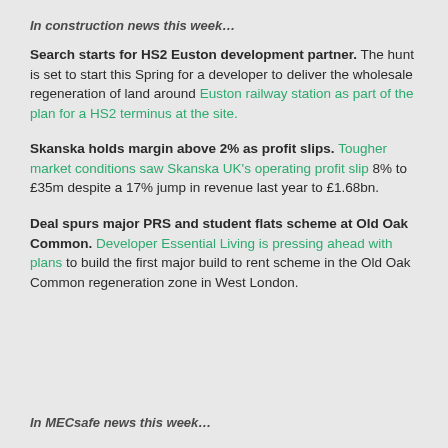In construction news this week…
Search starts for HS2 Euston development partner. The hunt is set to start this Spring for a developer to deliver the wholesale regeneration of land around Euston railway station as part of the plan for a HS2 terminus at the site.
Skanska holds margin above 2% as profit slips. Tougher market conditions saw Skanska UK's operating profit slip 8% to £35m despite a 17% jump in revenue last year to £1.68bn.
Deal spurs major PRS and student flats scheme at Old Oak Common. Developer Essential Living is pressing ahead with plans to build the first major build to rent scheme in the Old Oak Common regeneration zone in West London.
In MECsafe news this week…